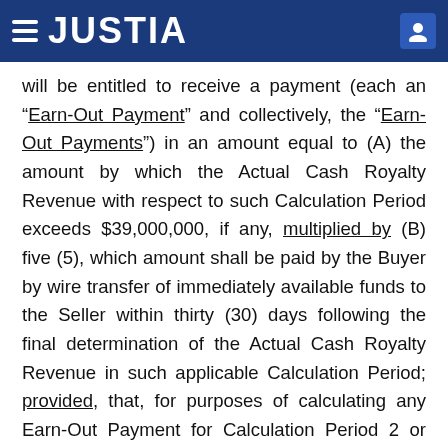JUSTIA
will be entitled to receive a payment (each an “Earn-Out Payment” and collectively, the “Earn-Out Payments”) in an amount equal to (A) the amount by which the Actual Cash Royalty Revenue with respect to such Calculation Period exceeds $39,000,000, if any, multiplied by (B) five (5), which amount shall be paid by the Buyer by wire transfer of immediately available funds to the Seller within thirty (30) days following the final determination of the Actual Cash Royalty Revenue in such applicable Calculation Period; provided, that, for purposes of calculating any Earn-Out Payment for Calculation Period 2 or Calculation Period 3, the amount of the Actual Cash Royalty Revenue with respect to such Calculation Period shall be deemed to include any portion of the Actual Cash Royalty Revenue with respect to the